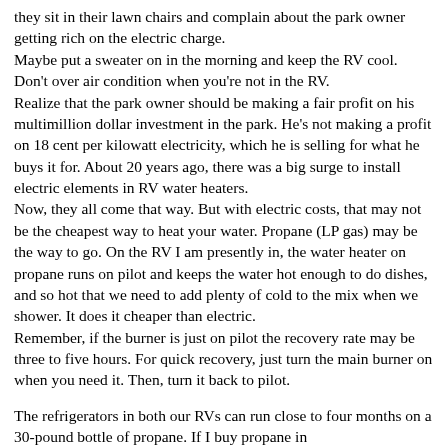they sit in their lawn chairs and complain about the park owner getting rich on the electric charge.
Maybe put a sweater on in the morning and keep the RV cool. Don't over air condition when you're not in the RV.
Realize that the park owner should be making a fair profit on his multimillion dollar investment in the park. He's not making a profit on 18 cent per kilowatt electricity, which he is selling for what he buys it for. About 20 years ago, there was a big surge to install electric elements in RV water heaters.
Now, they all come that way. But with electric costs, that may not be the cheapest way to heat your water. Propane (LP gas) may be the way to go. On the RV I am presently in, the water heater on propane runs on pilot and keeps the water hot enough to do dishes, and so hot that we need to add plenty of cold to the mix when we shower. It does it cheaper than electric.
Remember, if the burner is just on pilot the recovery rate may be three to five hours. For quick recovery, just turn the main burner on when you need it. Then, turn it back to pilot.
The refrigerators in both our RVs can run close to four months on a 30-pound bottle of propane. If I buy propane in